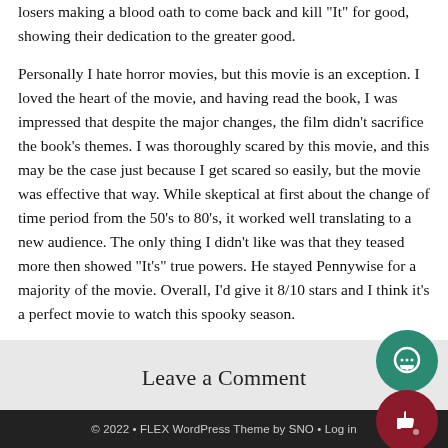losers making a blood oath to come back and kill "It" for good, showing their dedication to the greater good.
Personally I hate horror movies, but this movie is an exception. I loved the heart of the movie, and having read the book, I was impressed that despite the major changes, the film didn’t sacrifice the book’s themes. I was thoroughly scared by this movie, and this may be the case just because I get scared so easily, but the movie was effective that way. While skeptical at first about the change of time period from the 50’s to 80’s, it worked well translating to a new audience. The only thing I didn’t like was that they teased more then showed “It’s” true powers. He stayed Pennywise for a majority of the movie. Overall, I’d give it 8/10 stars and I think it’s a perfect movie to watch this spooky season.
Leave a Comment
© 2022 • FLEX WordPress Theme by SNO • Log in